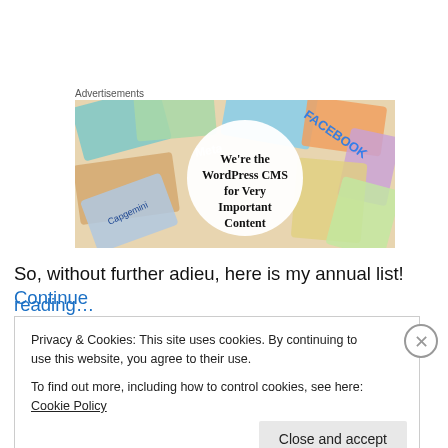Advertisements
[Figure (illustration): Advertisement banner for WordPress CMS showing a white circular overlay with text 'We’re the WordPress CMS for Very Important Content' on a background of colorful overlapping brand/company cards including Meta, Facebook, Capgemini logos.]
So, without further adieu, here is my annual list! Continue reading…
Privacy & Cookies: This site uses cookies. By continuing to use this website, you agree to their use.
To find out more, including how to control cookies, see here: Cookie Policy
Close and accept